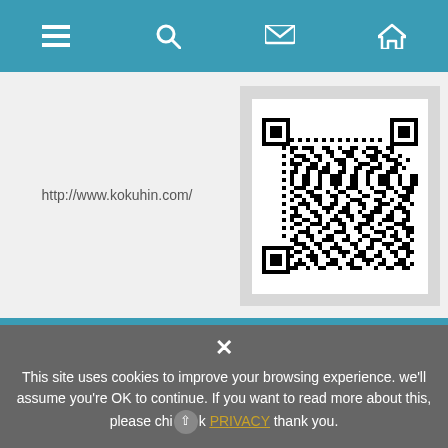[navigation bar with menu, search, mail, home icons]
http://www.kokuhin.com/
[Figure (other): QR code for http://www.kokuhin.com/]
CONTACT INFO
✕
This site uses cookies to improve your browsing experience. we'll assume you're OK to continue. If you want to read more about this, please click PRIVACY thank you.